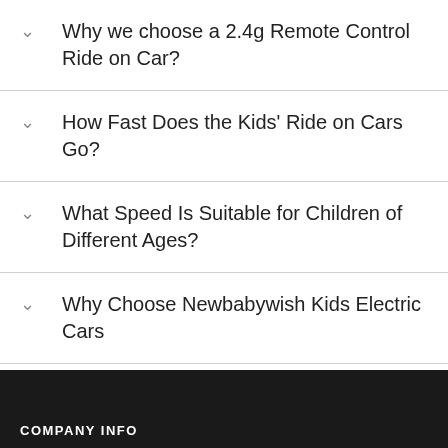Why we choose a 2.4g Remote Control Ride on Car?
How Fast Does the Kids' Ride on Cars Go?
What Speed Is Suitable for Children of Different Ages?
Why Choose Newbabywish Kids Electric Cars
Is It Safe to Drive the Ride on Car?
COMPANY INFO